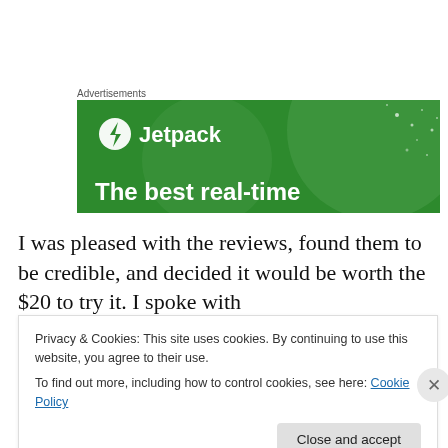Advertisements
[Figure (illustration): Jetpack advertisement banner with green background, circular design elements, Jetpack logo (lightning bolt icon) and text 'Jetpack', and tagline 'The best real-time']
I was pleased with the reviews, found them to be credible, and decided it would be worth the $20 to try it. I spoke with
Privacy & Cookies: This site uses cookies. By continuing to use this website, you agree to their use.
To find out more, including how to control cookies, see here: Cookie Policy